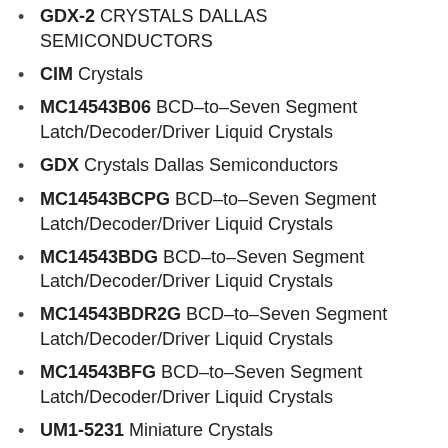GDX-2 CRYSTALS DALLAS SEMICONDUCTORS
CIM Crystals
MC14543B06 BCD–to–Seven Segment Latch/Decoder/Driver Liquid Crystals
GDX Crystals Dallas Semiconductors
MC14543BCPG BCD–to–Seven Segment Latch/Decoder/Driver Liquid Crystals
MC14543BDG BCD–to–Seven Segment Latch/Decoder/Driver Liquid Crystals
MC14543BDR2G BCD–to–Seven Segment Latch/Decoder/Driver Liquid Crystals
MC14543BFG BCD–to–Seven Segment Latch/Decoder/Driver Liquid Crystals
UM1-5231 Miniature Crystals
XT57C Quartz Crystals